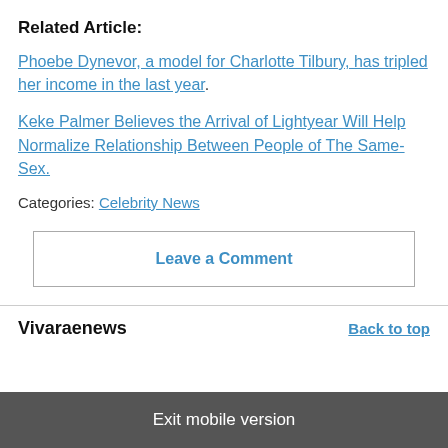Related Article:
Phoebe Dynevor, a model for Charlotte Tilbury, has tripled her income in the last year.
Keke Palmer Believes the Arrival of Lightyear Will Help Normalize Relationship Between People of The Same-Sex.
Categories: Celebrity News
Leave a Comment
Vivaraenews   Back to top
Exit mobile version